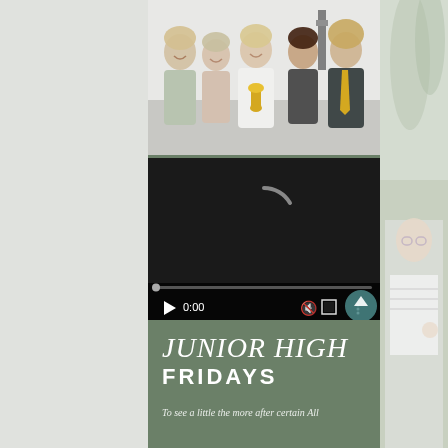[Figure (photo): Group photo of five young adults smiling in formal/semi-formal attire. The center person holds a gold trophy. They appear to be at an indoor event.]
[Figure (screenshot): Embedded video player showing 0:00 timestamp with play button, mute, fullscreen, and options controls at the bottom. Dark background with loading spinner visible.]
JUNIOR HIGH FRIDAYS
To see a little the more after certain All